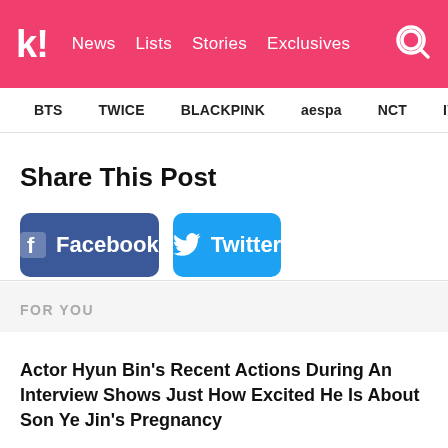k! News Lists Stories Exclusives
BTS TWICE BLACKPINK aespa NCT IVE SHIN
Share This Post
[Figure (screenshot): Facebook share button (dark blue with Facebook logo icon)]
[Figure (screenshot): Twitter share button (light blue with Twitter bird icon)]
FOR YOU
Actor Hyun Bin's Recent Actions During An Interview Shows Just How Excited He Is About Son Ye Jin's Pregnancy